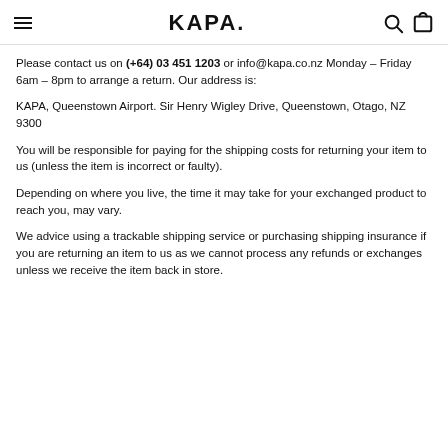KAPA.
Please contact us on (+64) 03 451 1203 or info@kapa.co.nz Monday – Friday 6am – 8pm to arrange a return. Our address is:
KAPA, Queenstown Airport. Sir Henry Wigley Drive, Queenstown, Otago, NZ 9300
You will be responsible for paying for the shipping costs for returning your item to us (unless the item is incorrect or faulty).
Depending on where you live, the time it may take for your exchanged product to reach you, may vary.
We advice using a trackable shipping service or purchasing shipping insurance if you are returning an item to us as we cannot process any refunds or exchanges unless we receive the item back in store.